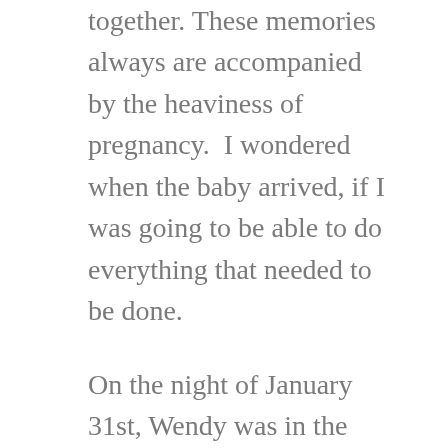together. These memories always are accompanied by the heaviness of pregnancy.  I wondered when the baby arrived, if I was going to be able to do everything that needed to be done.
On the night of January 31st, Wendy was in the hospital recovering from her catheter placement.  The nurse came in excited.  There was a kidney on its way.  We were to prep for surgery.  Now.  Wendy's nephrologist came over from her home and brought Wendy a snow globe to keep her busy while we got her ready.  It was a weekend, at night, so the operating floor...